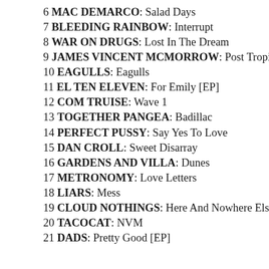6 MAC DEMARCO: Salad Days
7 BLEEDING RAINBOW: Interrupt
8 WAR ON DRUGS: Lost In The Dream
9 JAMES VINCENT MCMORROW: Post Tropical
10 EAGULLS: Eagulls
11 EL TEN ELEVEN: For Emily [EP]
12 COM TRUISE: Wave 1
13 TOGETHER PANGEA: Badillac
14 PERFECT PUSSY: Say Yes To Love
15 DAN CROLL: Sweet Disarray
16 GARDENS AND VILLA: Dunes
17 METRONOMY: Love Letters
18 LIARS: Mess
19 CLOUD NOTHINGS: Here And Nowhere Else
20 TACOCAT: NVM
21 DADS: Pretty Good [EP]